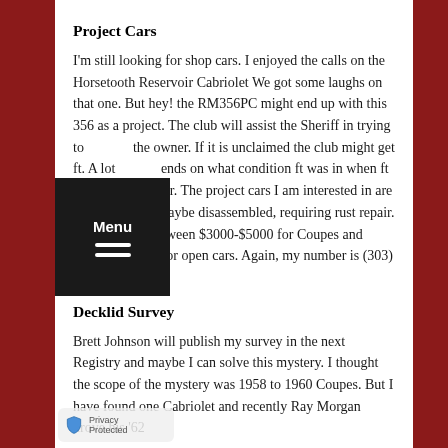Project Cars
I'm still looking for shop cars. I enjoyed the calls on the Horsetooth Reservoir Cabriolet We got some laughs on that one. But hey! the RM356PC might end up with this 356 as a project. The club will assist the Sheriff in trying to the owner. If it is unclaimed the club might get ft. A lot ends on what condition ft was in when ft went under er. The project cars I am interested in are complete cars, maybe disassembled, requiring rust repair. I usually pay between $3000-$5000 for Coupes and $8000-$10,000 for open cars. Again, my number is (303) 840-2356.
Decklid Survey
Brett Johnson will publish my survey in the next Registry and maybe I can solve this mystery. I thought the scope of the mystery was 1958 to 1960 Coupes. But I have found one Cabriolet and recently Ray Morgan drove his '62